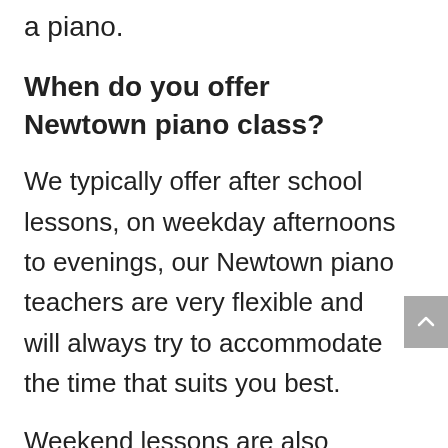a piano.
When do you offer Newtown piano class?
We typically offer after school lessons, on weekday afternoons to evenings, our Newtown piano teachers are very flexible and will always try to accommodate the time that suits you best.
Weekend lessons are also readily available, please enquire for more information.
How old should my child be to begin piano lessons?